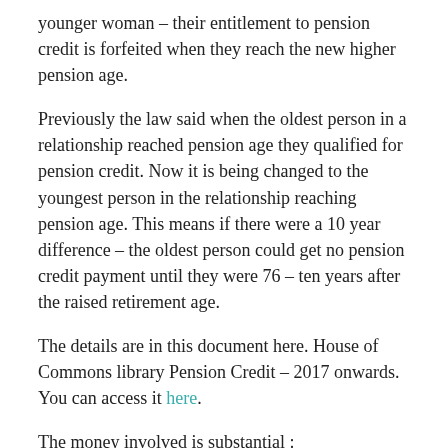younger woman – their entitlement to pension credit is forfeited when they reach the new higher pension age.
Previously the law said when the oldest person in a relationship reached pension age they qualified for pension credit. Now it is being changed to the youngest person in the relationship reaching pension age. This means if there were a 10 year difference – the oldest person could get no pension credit payment until they were 76 – ten years after the raised retirement age.
The details are in this document here. House of Commons library Pension Credit – 2017 onwards. You can access it here.
The money involved is substantial :
Rates 2017/18
Standard minimum guarantee single £159.35 couple £243